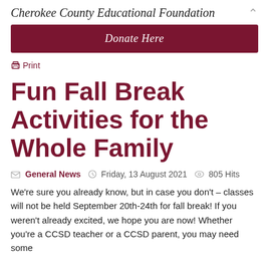Cherokee County Educational Foundation
Donate Here
Print
Fun Fall Break Activities for the Whole Family
General News   Friday, 13 August 2021   805 Hits
We're sure you already know, but in case you don't – classes will not be held September 20th-24th for fall break! If you weren't already excited, we hope you are now! Whether you're a CCSD teacher or a CCSD parent, you may need some